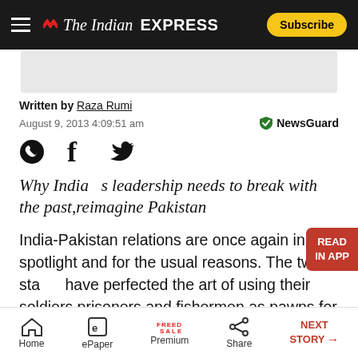The Indian EXPRESS | Subscribe
[Figure (other): Advertisement placeholder banner]
Written by Raza Rumi
August 9, 2013 4:09:51 am
[Figure (other): Social media icons: WhatsApp, Facebook, Twitter]
Why India’s leadership needs to break with the past,reimagine Pakistan
India-Pakistan relations are once again in the spotlight and for the usual reasons. The two states have perfected the art of using their soldiers,prisoners and fishermen as pawns for advancing the cause of nationalism. The recent
Home | ePaper | Premium | Share | NEXT STORY